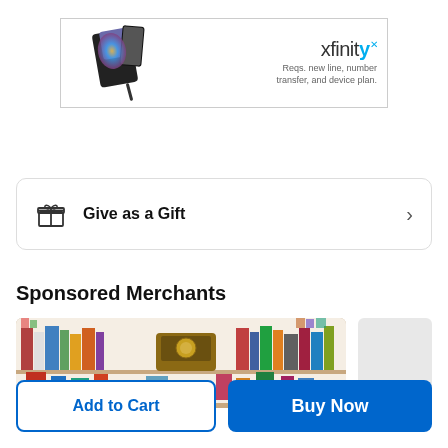[Figure (other): Xfinity advertisement banner showing Samsung foldable phones with text: Reqs. new line, number transfer, and device plan.]
Give as a Gift
Sponsored Merchants
[Figure (photo): Bookshelf with colorful books and decorative objects - sponsored merchant card]
Add to Cart
Buy Now